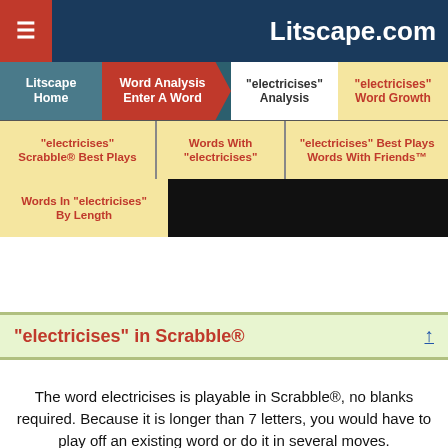Litscape.com
Litscape Home
Word Analysis Enter A Word
"electricises" Analysis
"electricises" Word Growth
"electricises" Scrabble® Best Plays
Words With "electricises"
"electricises" Best Plays Words With Friends™
Words In "electricises" By Length
"electricises" in Scrabble®
The word electricises is playable in Scrabble®, no blanks required. Because it is longer than 7 letters, you would have to play off an existing word or do it in several moves.